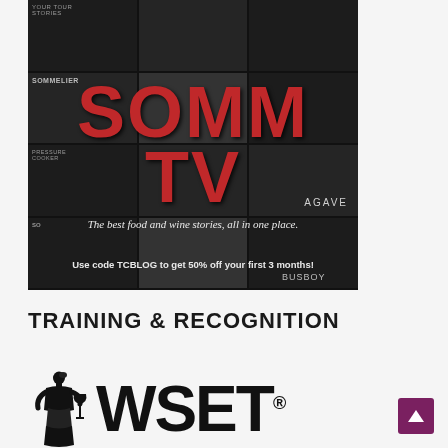[Figure (photo): SOMM TV promotional image with dark grid of food and wine video thumbnails. Large red bold 'SOMM TV' text overlaid in center. Tagline: 'The best food and wine stories, all in one place.' Promo code: 'Use code TCBLOG to get 50% off your first 3 months!'. 'AGAVE' and 'BUSBOY' and 'WINERY TOURS' text visible on thumbnails.]
TRAINING & RECOGNITION
[Figure (logo): WSET logo — illustration of a woman in Victorian dress holding a wine glass, next to large bold black 'WSET®' text]